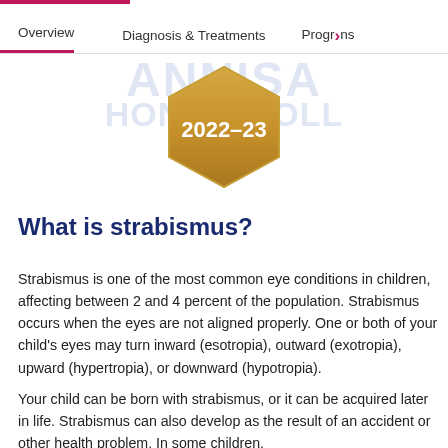Overview | Diagnosis & Treatments | Programs
[Figure (illustration): Gold hexagon badge with text 2022-23, overlaid on a blue watermark background with partially visible text]
What is strabismus?
Strabismus is one of the most common eye conditions in children, affecting between 2 and 4 percent of the population. Strabismus occurs when the eyes are not aligned properly. One or both of your child’s eyes may turn inward (esotropia), outward (exotropia), upward (hypertropia), or downward (hypotropia).
Your child can be born with strabismus, or it can be acquired later in life. Strabismus can also develop as the result of an accident or other health problem. In some children,